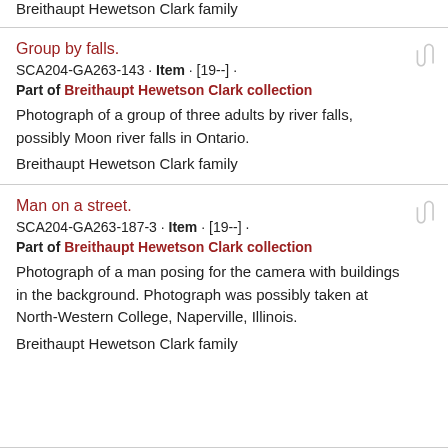Breithaupt Hewetson Clark family
Group by falls.
SCA204-GA263-143 · Item · [19--] ·
Part of Breithaupt Hewetson Clark collection
Photograph of a group of three adults by river falls, possibly Moon river falls in Ontario.
Breithaupt Hewetson Clark family
Man on a street.
SCA204-GA263-187-3 · Item · [19--] ·
Part of Breithaupt Hewetson Clark collection
Photograph of a man posing for the camera with buildings in the background. Photograph was possibly taken at North-Western College, Naperville, Illinois.
Breithaupt Hewetson Clark family